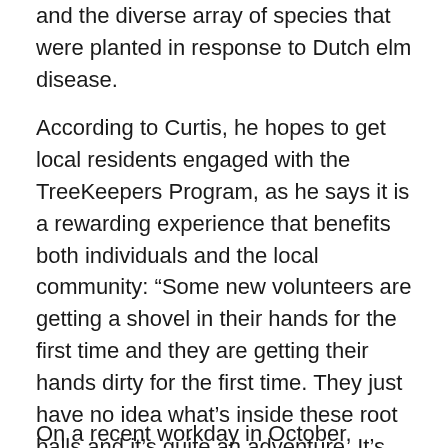and the diverse array of species that were planted in response to Dutch elm disease.
According to Curtis, he hopes to get local residents engaged with the TreeKeepers Program, as he says it is a rewarding experience that benefits both individuals and the local community: “Some new volunteers are getting a shovel in their hands for the first time and they are getting their hands dirty for the first time. They just have no idea what’s inside these root balls and it’s quite an adventure. It’s been fabulous therapy throughout the pandemic.”
On a recent workday in October, Curtis